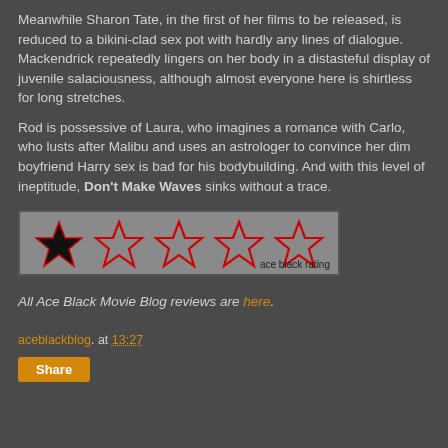Meanwhile Sharon Tate, in the first of her films to be released, is reduced to a bikini-clad sex pot with hardly any lines of dialogue. Mackendrick repeatedly lingers on her body in a distasteful display of juvenile salaciousness, although almost everyone here is shirtless for long stretches.
Rod is possessive of Laura, who imagines a romance with Carlo, who lusts after Malibu and uses an astrologer to convince her dim boyfriend Harry sex is bad for his bodybuilding. And with this level of ineptitude, Don't Make Waves sinks without a trace.
[Figure (other): Star rating graphic showing 1 out of 5 stars (one filled black star, four outlined red stars) on a grey background with 'ace black rating' label]
All Ace Black Movie Blog reviews are here.
aceblackblog. at 13:27
Share